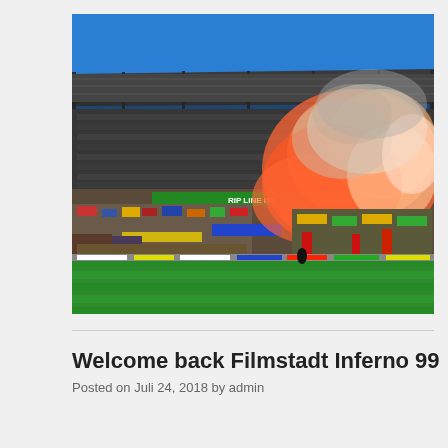[Figure (photo): A football stadium stand with fans holding banners and setting off red/orange flares and smoke. The stadium has a large roof canopy, green grass pitch visible in foreground, bright blue sky above. A green banner reading 'RIP LINE ITA' is visible among the crowd.]
Welcome back Filmstadt Inferno 99
Posted on Juli 24, 2018 by admin